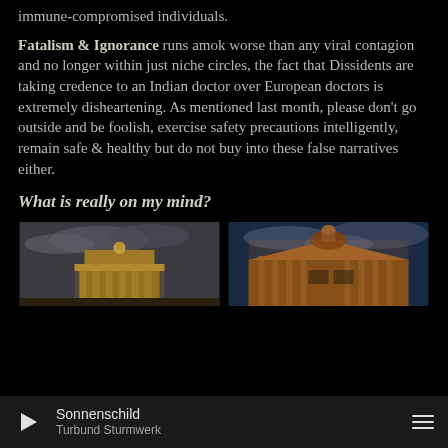immune-compromised individuals.
Fatalism & Ignorance runs amok worse than any viral contagion and no longer within just niche circles, the fact that Dissidents are taking credence to an Indian doctor over European doctors is extremely disheartening. As mentioned last month, please don't go outside and be foolish, exercise safety precautions intelligently, remain safe & healthy but do not buy into these false narratives either.
What is really on my mind?
[Figure (photo): Nighttime photo of Brandenburg Gate illuminated with golden light against a dramatic cloudy sky]
[Figure (photo): Nighttime photo of a grand classical European building (Semperoper Dresden) illuminated in warm orange light against a blue cloudy sky]
Sonnenschild | Turbund Sturmwerk